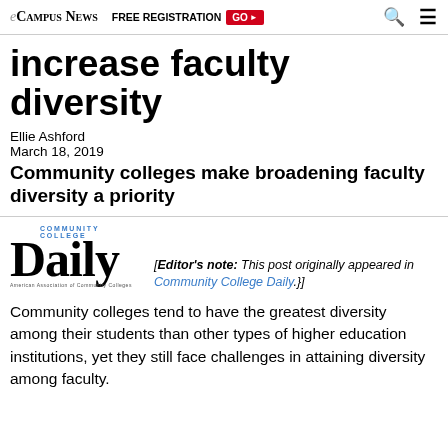eCampus News | FREE REGISTRATION GO ▶ 🔍 ☰
increase faculty diversity
Ellie Ashford
March 18, 2019
Community colleges make broadening faculty diversity a priority
[Editor's note: This post originally appeared in Community College Daily.]
Community colleges tend to have the greatest diversity among their students than other types of higher education institutions, yet they still face challenges in attaining diversity among faculty.